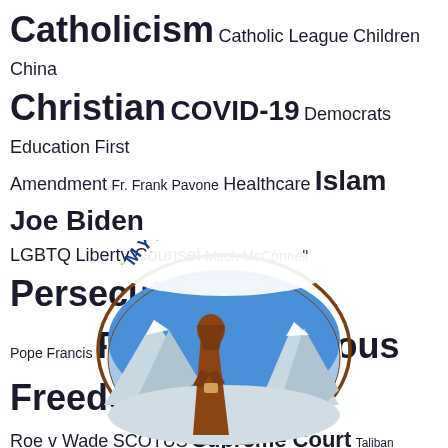[Figure (infographic): Word cloud with religious, political, and social topics including Catholicism, Christian, COVID-19, Pro-Life, Religious Freedom, Vaccinations, etc., plus a Mystic Monk Coffee logo at the bottom showing a robed monk in front of snowy mountains inside an oval.]